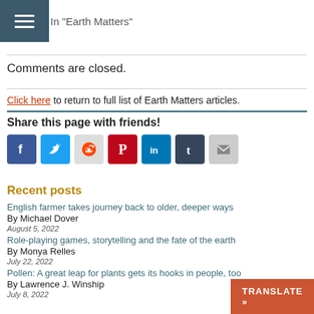≡ In "Earth Matters"
Comments are closed.
Click here to return to full list of Earth Matters articles.
Share this page with friends!
[Figure (infographic): Social media sharing icons: Facebook, Twitter, Reddit, Pinterest, LinkedIn, Tumblr, Email]
Recent posts
English farmer takes journey back to older, deeper ways
By Michael Dover
August 5, 2022
Role-playing games, storytelling and the fate of the earth
By Monya Relles
July 22, 2022
Pollen: A great leap for plants gets its hooks in people, too
By Lawrence J. Winship
July 8, 2022